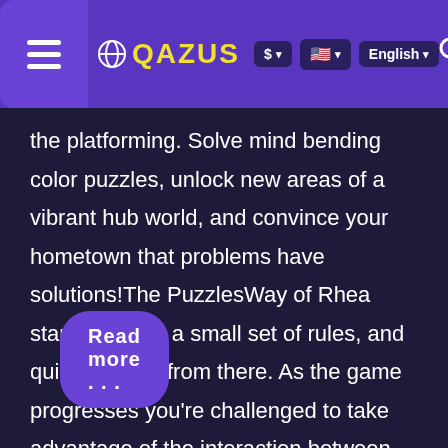QAZUS | $ | English
the platforming. Solve mind bending color puzzles, unlock new areas of a vibrant hub world, and convince your hometown that problems have solutions!The PuzzlesWay of Rhea starts out with a small set of rules, and quickly builds from there. As the game progresses you're challenged to take advantage of the interaction between each new feature you're taught with those you've already mastered.Each puzzle in Way of Rhea is hand crafted to teach a unique lesson—there's no filler. Some puzzles are
Read more . . .